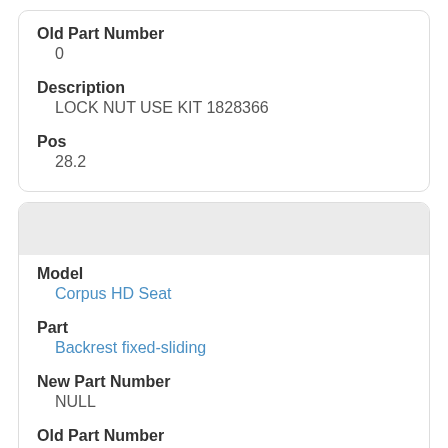Old Part Number
0
Description
LOCK NUT USE KIT 1828366
Pos
28.2
Model
Corpus HD Seat
Part
Backrest fixed-sliding
New Part Number
NULL
Old Part Number
0